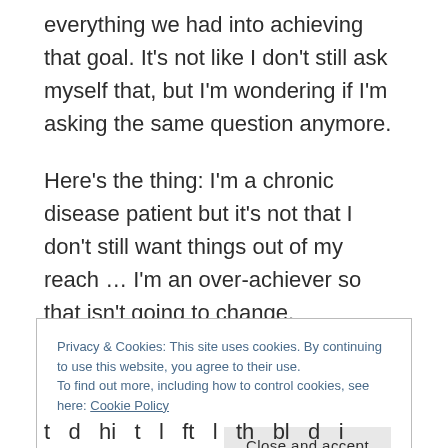everything we had into achieving that goal. It's not like I don't still ask myself that, but I'm wondering if I'm asking the same question anymore.
Here's the thing: I'm a chronic disease patient but it's not that I don't still want things out of my reach … I'm an over-achiever so that isn't going to change.
Privacy & Cookies: This site uses cookies. By continuing to use this website, you agree to their use.
To find out more, including how to control cookies, see here: Cookie Policy
Close and accept
t d hi t l ft l th bl d i